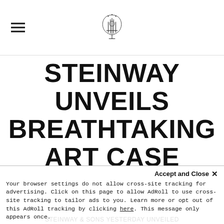Steinway & Sons logo with hamburger menu
STEINWAY UNVEILS BREATHTAKING ART CASE PIANO CELEBRATING GREAT RUSSIAN COMPOSER MODEST MUSSORGSKY
Accept and Close ✕
Your browser settings do not allow cross-site tracking for advertising. Click on this page to allow AdRoll to use cross-site tracking to tailor ads to you. Learn more or opt out of this AdRoll tracking by clicking here. This message only appears once.
STEINWAY & SONS yesterday unveiled